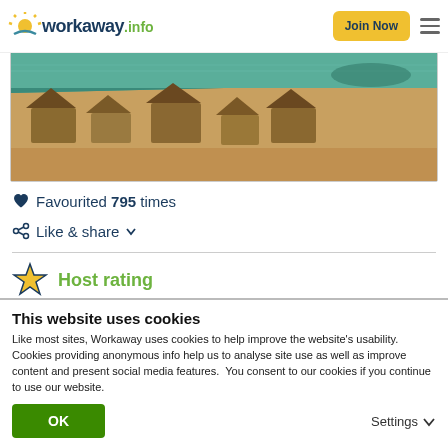workaway.info | Join Now
[Figure (photo): Aerial view of a beach/coastal area with sandy shore, thatched structures, and turquoise water]
❤ Favourited 795 times
< Like & share ▼
Host rating
This website uses cookies
Like most sites, Workaway uses cookies to help improve the website's usability. Cookies providing anonymous info help us to analyse site use as well as improve content and present social media features.  You consent to our cookies if you continue to use our website.
OK | Settings ▼